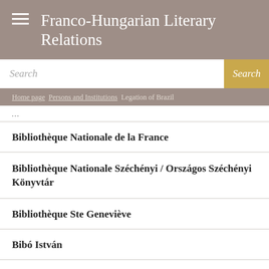Franco-Hungarian Literary Relations
Search
Home page > Persons and Institutions > Legation of Brazil
Bibliothèque Nationale de la France
Bibliothèque Nationale Széchényi / Országos Széchényi Könyvtár
Bibliothèque Ste Geneviève
Bibó István